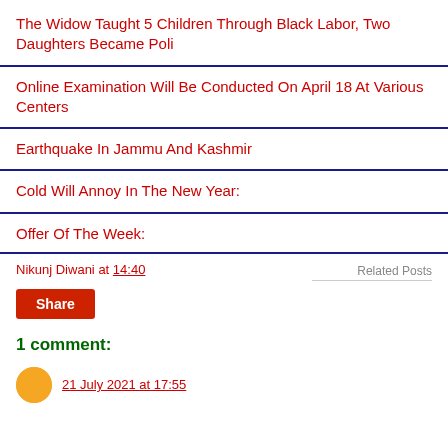The Widow Taught 5 Children Through Black Labor, Two Daughters Became Poli
Online Examination Will Be Conducted On April 18 At Various Centers
Earthquake In Jammu And Kashmir
Cold Will Annoy In The New Year:
Offer Of The Week:
Nikunj Diwani at 14:40
Related Posts
Share
1 comment:
21 July 2021 at 17:55